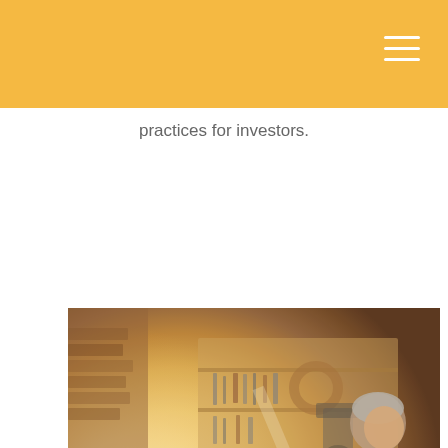practices for investors.
[Figure (photo): An older craftsman working at a woodworking bench in a workshop filled with tools on shelves. The man has grey hair and wears a patterned sweater. The workshop has warm, golden lighting with brick walls visible on the left.]